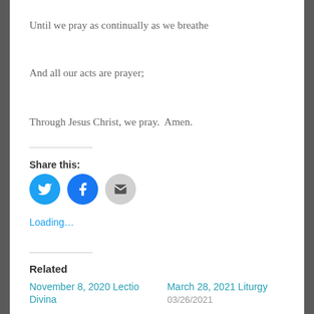Until we pray as continually as we breathe
And all our acts are prayer;
Through Jesus Christ, we pray.  Amen.
Share this:
[Figure (infographic): Social share buttons: Twitter (blue circle), Facebook (blue circle), Email (grey circle)]
Loading...
Related
November 8, 2020 Lectio Divina
March 28, 2021 Liturgy 03/26/2021